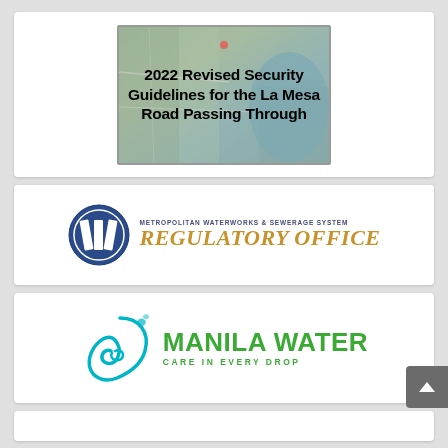[Figure (map): Aerial/satellite map image of La Mesa area with overlaid bold text reading '2022 Revised Security Guidelines for the La Mesa Road Passing Through']
[Figure (logo): Metropolitan Waterworks & Sewerage System Regulatory Office logo. Blue circular icon with stylized 'M' shape on left, text 'METROPOLITAN WATERWORKS & SEWERAGE SYSTEM' in small caps above, 'REGULATORY OFFICE' in large gold italic serif font below.]
[Figure (logo): Manila Water logo. Teal/cyan swirl wave icon on left, bold green text 'MANILA WATER' with tagline 'CARE IN EVERY DROP' below in green.]